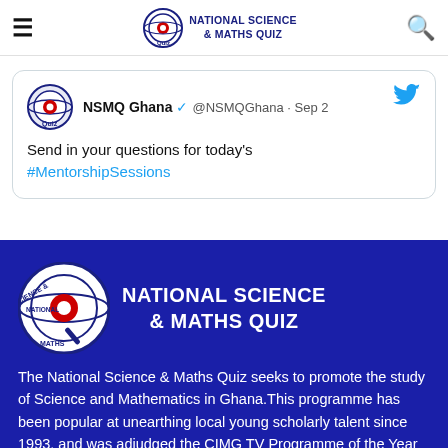National Science & Maths Quiz — navigation bar with hamburger menu, logo, and search icon
[Figure (screenshot): Tweet card from @NSMQGhana dated Sep 2 with text: NSMQ Ghana verified @NSMQGhana · Sep 2 Send in your questions for today's #MentorshipSessions]
NSMQ Ghana @NSMQGhana · Sep 2
Send in your questions for today's #MentorshipSessions
[Figure (logo): National Science & Maths Quiz logo and title text on blue background]
The National Science & Maths Quiz seeks to promote the study of Science and Mathematics in Ghana.This programme has been popular at unearthing local young scholarly talent since 1993, and was adjudged the CIMG TV Programme of the Year 2017.